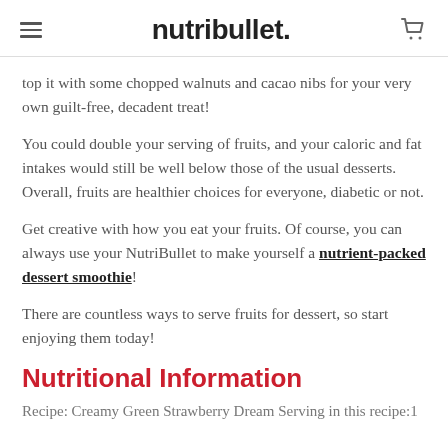nutribullet.
top it with some chopped walnuts and cacao nibs for your very own guilt-free, decadent treat!
You could double your serving of fruits, and your caloric and fat intakes would still be well below those of the usual desserts. Overall, fruits are healthier choices for everyone, diabetic or not.
Get creative with how you eat your fruits. Of course, you can always use your NutriBullet to make yourself a nutrient-packed dessert smoothie!
There are countless ways to serve fruits for dessert, so start enjoying them today!
Nutritional Information
Recipe: Creamy Green Strawberry Dream Serving in this recipe:1